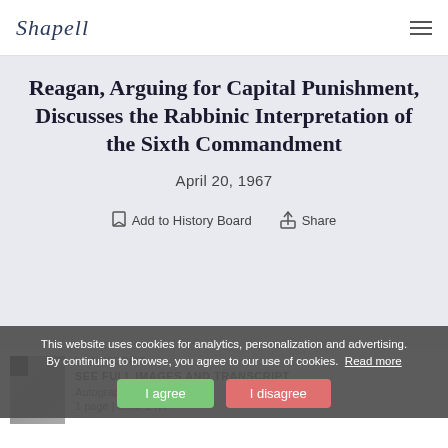Shapell
Reagan, Arguing for Capital Punishment, Discusses the Rabbinic Interpretation of the Sixth Commandment
April 20, 1967
Add to History Board   Share
Manuscript
SEE FULL IMAGES AND TRANSCRIPT
Autograph Letter Signed
1 page | SMC 1477
This website uses cookies for analytics, personalization and advertising. By continuing to browse, you agree to our use of cookies. Read more
I agree
I disagree